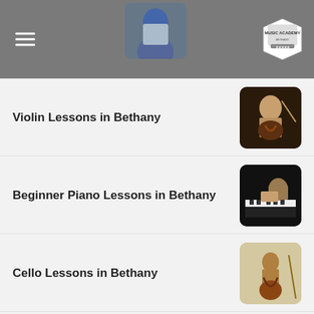Music Academy
Violin Lessons in Bethany
[Figure (photo): Person playing violin]
Beginner Piano Lessons in Bethany
[Figure (photo): Person playing piano]
Cello Lessons in Bethany
[Figure (photo): Person playing cello]
Songwriting Lessons in Bethany
[Figure (photo): Person singing/songwriting]